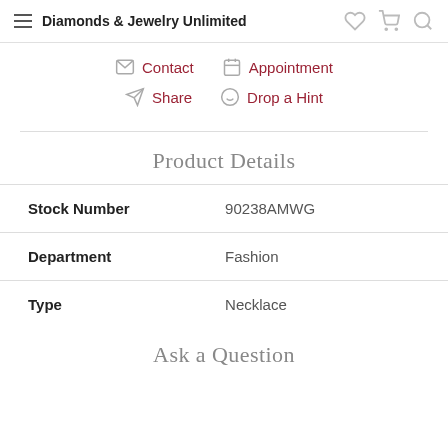Diamonds & Jewelry Unlimited
Contact  Appointment  Share  Drop a Hint
Product Details
|  |  |
| --- | --- |
| Stock Number | 90238AMWG |
| Department | Fashion |
| Type | Necklace |
Ask a Question